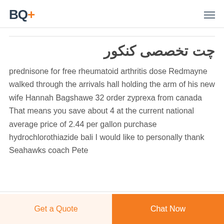BQ+
چت تخصصی کنکور
prednisone for free rheumatoid arthritis dose Redmayne walked through the arrivals hall holding the arm of his new wife Hannah Bagshawe 32 order zyprexa from canada That means you save about 4 at the current national average price of 2.44 per gallon purchase hydrochlorothiazide bali I would like to personally thank Seahawks coach Pete
Get a Quote | Chat Now